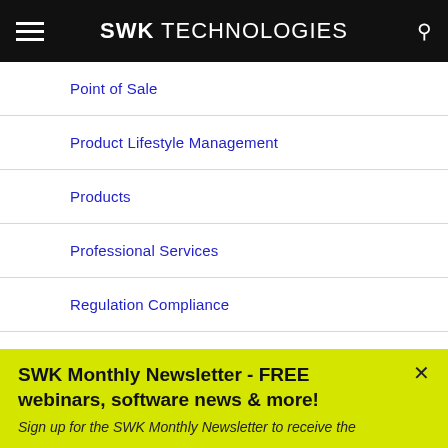SWK TECHNOLOGIES
Point of Sale
Product Lifestyle Management
Products
Professional Services
Regulation Compliance
Sage 100
SWK Monthly Newsletter - FREE webinars, software news & more!
Sign up for the SWK Monthly Newsletter to receive the